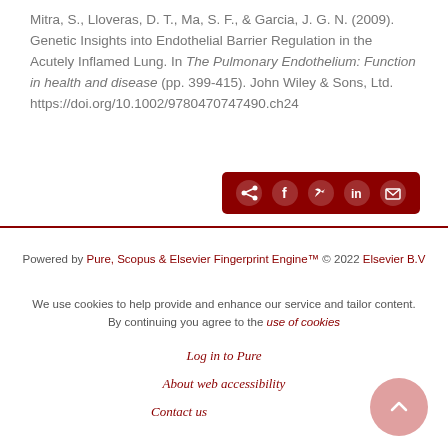Mitra, S., Lloveras, D. T., Ma, S. F., & Garcia, J. G. N. (2009). Genetic Insights into Endothelial Barrier Regulation in the Acutely Inflamed Lung. In The Pulmonary Endothelium: Function in health and disease (pp. 399-415). John Wiley & Sons, Ltd. https://doi.org/10.1002/9780470747490.ch24
[Figure (other): Social share bar with icons for share, Facebook, Twitter, LinkedIn, and email on a dark red background]
Powered by Pure, Scopus & Elsevier Fingerprint Engine™ © 2022 Elsevier B.V
We use cookies to help provide and enhance our service and tailor content. By continuing you agree to the use of cookies
Log in to Pure
About web accessibility
Contact us